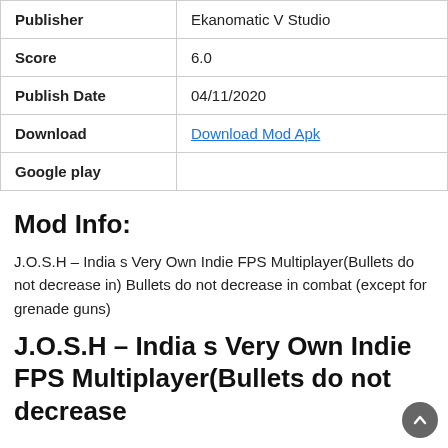| Publisher | Ekanomatic V Studio |
| Score | 6.0 |
| Publish Date | 04/11/2020 |
| Download | Download Mod Apk |
| Google play |  |
Mod Info:
J.O.S.H – India s Very Own Indie FPS Multiplayer(Bullets do not decrease in) Bullets do not decrease in combat (except for grenade guns)
J.O.S.H – India s Very Own Indie FPS Multiplayer(Bullets do not decrease